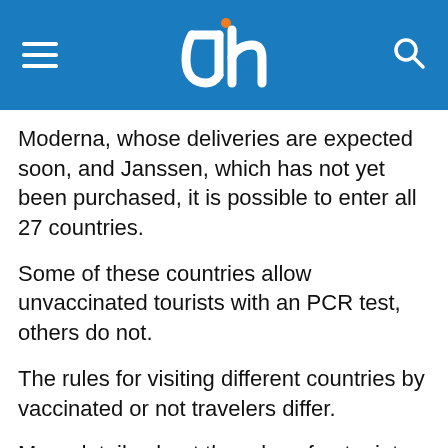Ukrainian News (logo and navigation bar)
Moderna, whose deliveries are expected soon, and Janssen, which has not yet been purchased, it is possible to enter all 27 countries.
Some of these countries allow unvaccinated tourists with an PCR test, others do not.
The rules for visiting different countries by vaccinated or not travelers differ.
More details about the rules of entry into the country of interest can be found on the special portal of the Ministry of Foreign Affairs tripadvisor.mfa.gov.ua/map.
As Ukrainian News Agency earlier reported, on